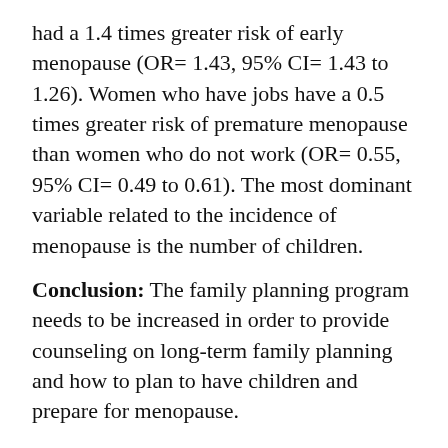had a 1.4 times greater risk of early menopause (OR= 1.43, 95% CI= 1.43 to 1.26). Women who have jobs have a 0.5 times greater risk of premature menopause than women who do not work (OR= 0.55, 95% CI= 0.49 to 0.61). The most dominant variable related to the incidence of menopause is the number of children.
Conclusion: The family planning program needs to be increased in order to provide counseling on long-term family planning and how to plan to have children and prepare for menopause.
Keywords: early menopause, number of children, childbirth age, smoking
Correspondence: Iftah Tazkiyah. Master program in Public Health, University of